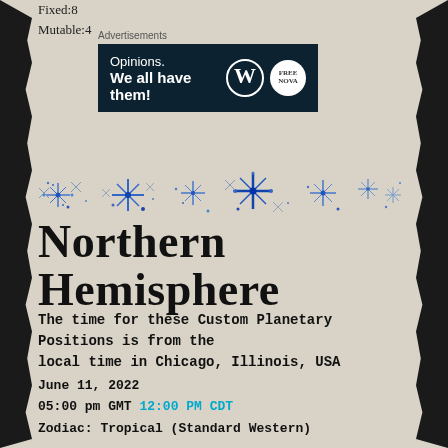Fixed:8
Mutable:4
[Figure (screenshot): Advertisement banner: dark navy background with 'Opinions. We all have them!' text in white, WordPress logo and another circular logo on the right.]
[Figure (illustration): Decorative divider with blue sparkle/star cross patterns and dots arranged horizontally.]
Northern Hemisphere
The time for these Custom Planetary Positions is from the local time in Chicago, Illinois, USA
June 11, 2022
05:00 pm GMT 12:00 PM CDT
Zodiac: Tropical (Standard Western)